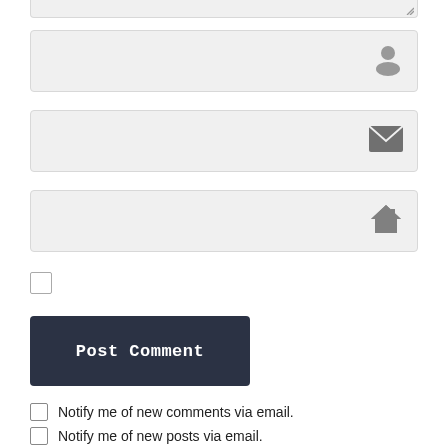[Figure (screenshot): Textarea bottom stub with resize handle visible at top of page]
[Figure (screenshot): Text input field with person/user icon on the right]
[Figure (screenshot): Text input field with envelope/email icon on the right]
[Figure (screenshot): Text input field with house/home icon on the right]
[Figure (screenshot): Unchecked checkbox]
[Figure (screenshot): Post Comment button - dark navy background with white monospace text]
Notify me of new comments via email.
Notify me of new posts via email.